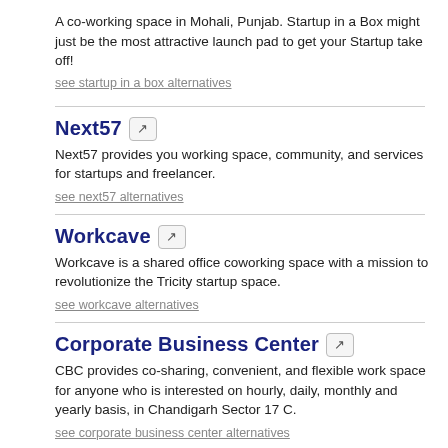A co-working space in Mohali, Punjab. Startup in a Box might just be the most attractive launch pad to get your Startup take off!
see startup in a box alternatives
Next57
Next57 provides you working space, community, and services for startups and freelancer.
see next57 alternatives
Workcave
Workcave is a shared office coworking space with a mission to revolutionize the Tricity startup space.
see workcave alternatives
Corporate Business Center
CBC provides co-sharing, convenient, and flexible work space for anyone who is interested on hourly, daily, monthly and yearly basis, in Chandigarh Sector 17 C.
see corporate business center alternatives
Plugin Offices
Plugin Offices offering highly equipped Coworking & Office Space in Panchkula, Chandigarh & Zirakpur for Startups, Entrepreneurs and Freelancers.
see plugin offices alternatives
Full Circle
Contemporary purpose built co-working space in the central